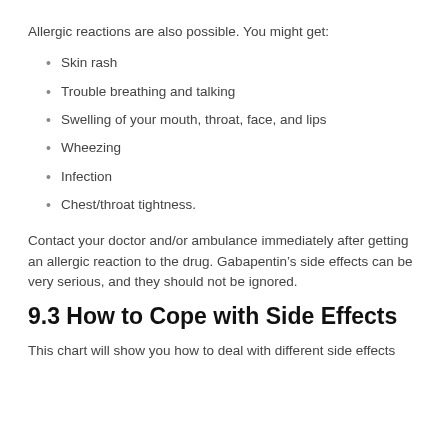Allergic reactions are also possible. You might get:
Skin rash
Trouble breathing and talking
Swelling of your mouth, throat, face, and lips
Wheezing
Infection
Chest/throat tightness.
Contact your doctor and/or ambulance immediately after getting an allergic reaction to the drug. Gabapentin’s side effects can be very serious, and they should not be ignored.
9.3 How to Cope with Side Effects
This chart will show you how to deal with different side effects